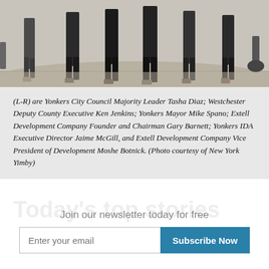[Figure (photo): Bottom portion of a group photo showing people standing on dirt/sand at what appears to be a groundbreaking ceremony, cropped to show legs and feet only.]
(L-R) are Yonkers City Council Majority Leader Tasha Diaz; Westchester Deputy County Executive Ken Jenkins; Yonkers Mayor Mike Spano; Extell Development Company Founder and Chairman Gary Barnett; Yonkers IDA Executive Director Jaime McGill, and Extell Development Company Vice President of Development Moshe Botnick. (Photo courtesy of New York Yimby)
Today's top stories
Join our newsletter today for free